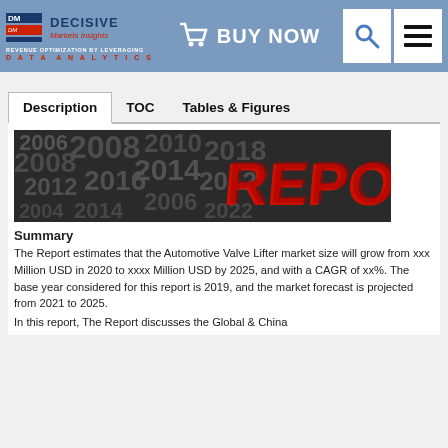Decisive Markets Insights — BUY NOW
Description   TOC   Tables & Figures
[Figure (photo): 3D red letters spelling REPO (report) on a background of grey 3D numbers]
Summary
The Report estimates that the Automotive Valve Lifter market size will grow from xxx Million USD in 2020 to xxxx Million USD by 2025, and with a CAGR of xx%. The base year considered for this report is 2019, and the market forecast is projected from 2021 to 2025.
In this report, The Report discusses the Global & China